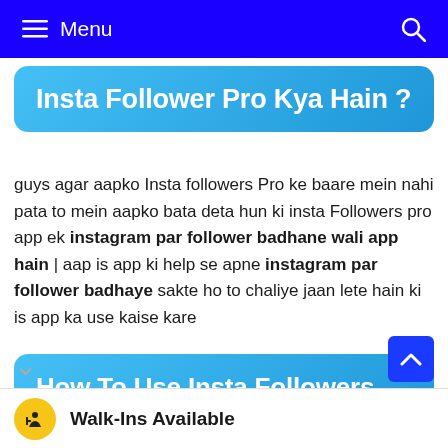Menu
Insta Follower Pro Kya Hain ?
guys agar aapko Insta followers Pro ke baare mein nahi pata to mein aapko bata deta hun ki insta Followers pro app ek instagram par follower badhane wali app hain | aap is app ki help se apne instagram par follower badhaye sakte ho to chaliye jaan lete hain ki is app ka use kaise kare
How To Use Insta Followers Pro App ?
Walk-Ins Available